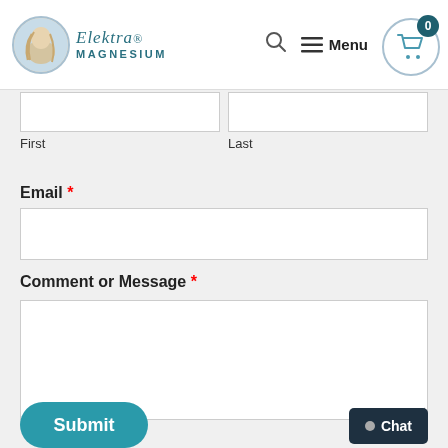Elektra Magnesium — navigation header with logo, search, menu, cart (0)
First
Last
Email *
Comment or Message *
Submit
Chat